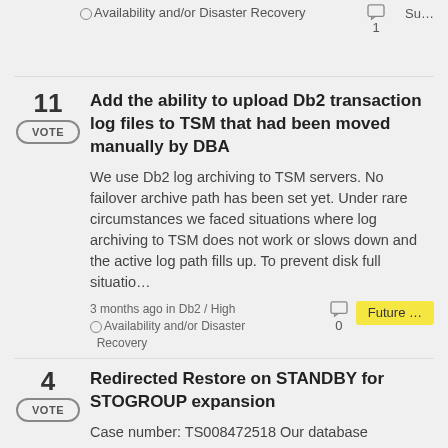Availability and/or Disaster Recovery
1   Su...
11 VOTE — Add the ability to upload Db2 transaction log files to TSM that had been moved manually by DBA — We use Db2 log archiving to TSM servers. No failover archive path has been set yet. Under rare circumstances we faced situations where log archiving to TSM does not work or slows down and the active log path fills up. To prevent disk full situatio... — 3 months ago in Db2 / High Availability and/or Disaster Recovery — 0 comments — Future ...
4 VOTE — Redirected Restore on STANDBY for STOGROUP expansion — Case number: TS008472518 Our database